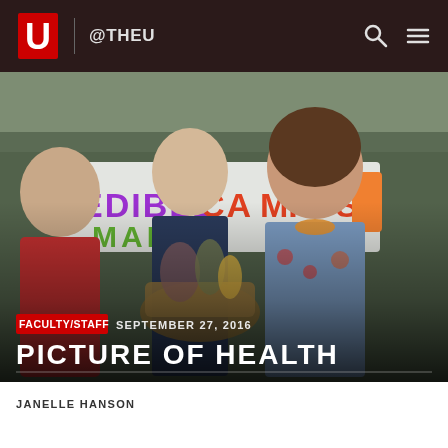@THEU
[Figure (photo): People at an Edible Campus Market outdoor event under a tent, smiling and holding baskets of produce and flowers. A colorful hand-painted banner reading 'EDIBLE CAMPUS MARKET' is visible in the background.]
FACULTY/STAFF   SEPTEMBER 27, 2016
PICTURE OF HEALTH
JANELLE HANSON